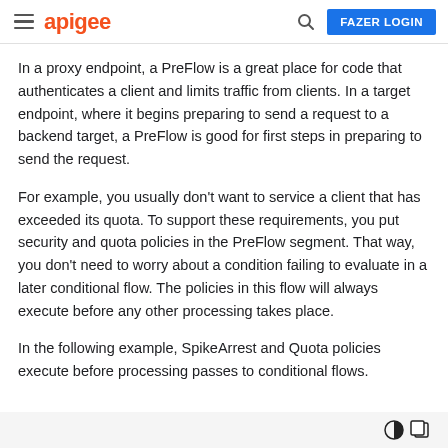apigee | FAZER LOGIN
In a proxy endpoint, a PreFlow is a great place for code that authenticates a client and limits traffic from clients. In a target endpoint, where it begins preparing to send a request to a backend target, a PreFlow is good for first steps in preparing to send the request.
For example, you usually don't want to service a client that has exceeded its quota. To support these requirements, you put security and quota policies in the PreFlow segment. That way, you don't need to worry about a condition failing to evaluate in a later conditional flow. The policies in this flow will always execute before any other processing takes place.
In the following example, SpikeArrest and Quota policies execute before processing passes to conditional flows.
[Figure (screenshot): Bottom toolbar area with dark mode and copy icons on a light gray background]